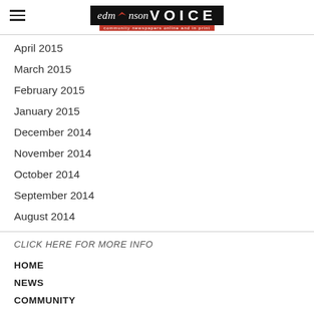the Edmonson VOICE
April 2015
March 2015
February 2015
January 2015
December 2014
November 2014
October 2014
September 2014
August 2014
CLICK HERE FOR MORE INFO
HOME
NEWS
COMMUNITY